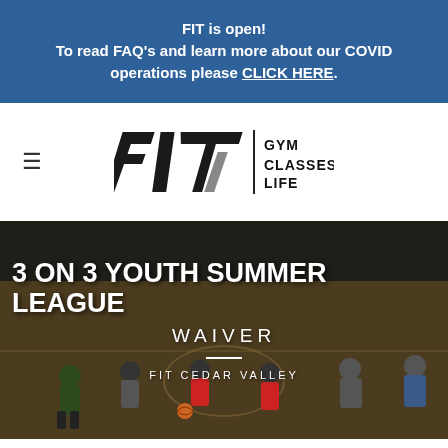FIT is open! To read FAQ's and learn more about our COVID operations please CLICK HERE.
[Figure (logo): FIT Gym Classes Life logo — stylized FIT letterforms in black and gray with vertical text GYM CLASSES LIFE beside a vertical rule]
3 ON 3 YOUTH SUMMER LEAGUE
WAIVER
FIT CEDAR VALLEY